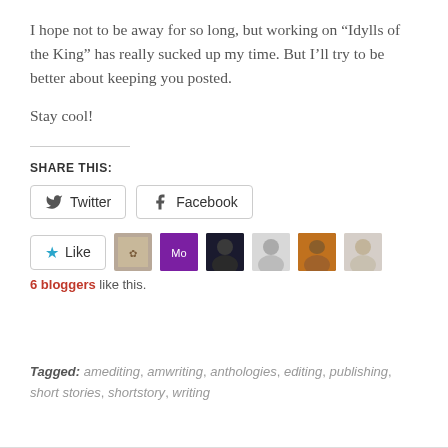I hope not to be away for so long, but working on “Idylls of the King” has really sucked up my time. But I’ll try to be better about keeping you posted.
Stay cool!
SHARE THIS:
[Figure (screenshot): Twitter and Facebook share buttons]
[Figure (screenshot): Like button with 6 blogger avatars]
6 bloggers like this.
Tagged: amediting, amwriting, anthologies, editing, publishing, short stories, shortstory, writing